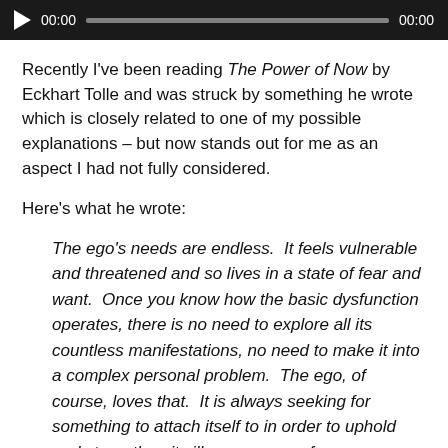[Figure (other): Audio player bar with play button, time stamp 00:00 on left, progress bar, and time stamp 00:00 on right, dark background]
Recently I've been reading The Power of Now by Eckhart Tolle and was struck by something he wrote which is closely related to one of my possible explanations – but now stands out for me as an aspect I had not fully considered.
Here's what he wrote:
The ego's needs are endless.  It feels vulnerable and threatened and so lives in a state of fear and want.  Once you know how the basic dysfunction operates, there is no need to explore all its countless manifestations, no need to make it into a complex personal problem.  The ego, of course, loves that.  It is always seeking for something to attach itself to in order to uphold and strengthen its illusory sense of